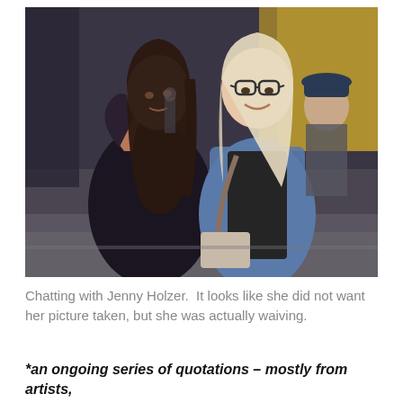[Figure (photo): Two women standing together on an urban street in front of a building with gold-tinted facade. The woman on the left has long dark hair, wearing a black puffer jacket, and has her hand raised as if waving. The woman on the right has short blonde hair, wearing glasses and a denim jacket over a dark top with a light-colored bag. A man in a navy cap is visible in the background.]
Chatting with Jenny Holzer.  It looks like she did not want her picture taken, but she was actually waiving.
*an ongoing series of quotations – mostly from artists,